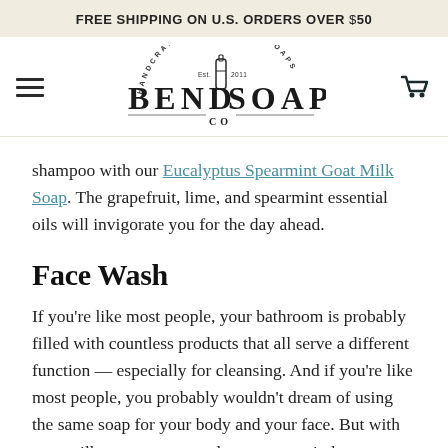FREE SHIPPING ON U.S. ORDERS OVER $50
[Figure (logo): Bend Soap Co. logo with handcrafted goat milk soaps circular text, bottle illustration, and BEND SOAP CO. text]
shampoo with our Eucalyptus Spearmint Goat Milk Soap. The grapefruit, lime, and spearmint essential oils will invigorate you for the day ahead.
Face Wash
If you’re like most people, your bathroom is probably filled with countless products that all serve a different function — especially for cleansing. And if you’re like most people, you probably wouldn’t dream of using the same soap for your body and your face. But with goat milk soap, you may change your mind.